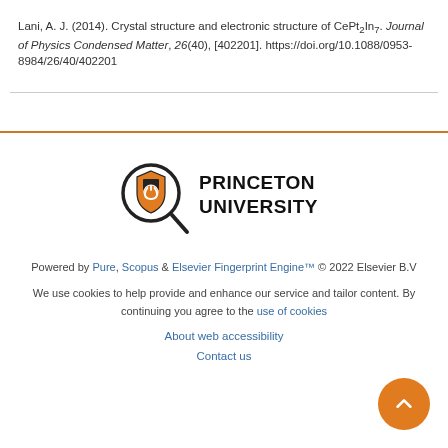Lani, A. J. (2014). Crystal structure and electronic structure of CePt₂In₇. Journal of Physics Condensed Matter, 26(40), [402201]. https://doi.org/10.1088/0953-8984/26/40/402201
[Figure (logo): Princeton University logo with magnifying glass icon and text PRINCETON UNIVERSITY]
Powered by Pure, Scopus & Elsevier Fingerprint Engine™ © 2022 Elsevier B.V
We use cookies to help provide and enhance our service and tailor content. By continuing you agree to the use of cookies
About web accessibility
Contact us